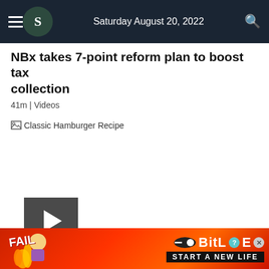Saturday August 20, 2022
NBx takes 7-point reform plan to boost tax collection
41m | Videos
[Figure (photo): Broken image placeholder with text 'Classic Hamburger Recipe']
[Figure (other): Video player with play button and scroll down chevron]
[Figure (other): Advertisement banner: FAIL BitLife - START A NEW LIFE]